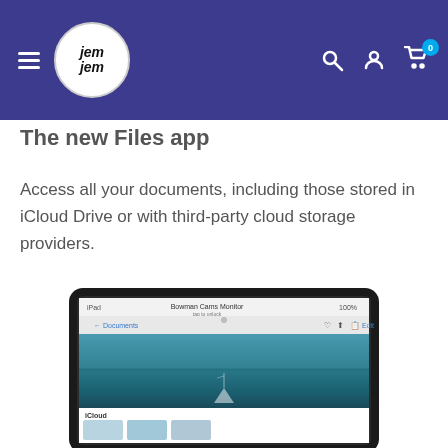JemJem navigation bar with logo, hamburger menu, search, account, and cart icons
The new Files app
Access all your documents, including those stored in iCloud Drive or with third-party cloud storage providers.
[Figure (screenshot): Tablet (iPad) displaying a Files app with a document viewer showing a seascape image, with iCloud and favorites sections visible at the bottom.]